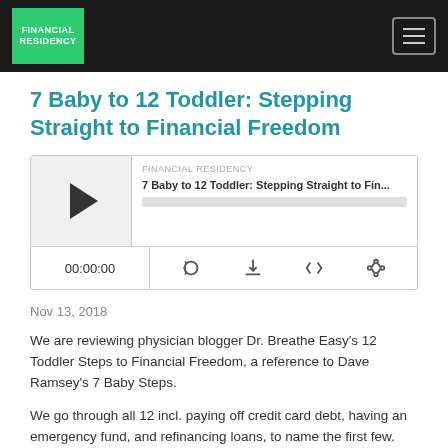FINANCIAL RESIDENCY
7 Baby to 12 Toddler: Stepping Straight to Financial Freedom
[Figure (screenshot): Podcast audio player widget showing episode '7 Baby to 12 Toddler: Stepping Straight to Fin...' from FINANCIAL RESIDENCY, with play button, progress bar at 00:00:00, and icons for RSS, download, embed, and share.]
Nov 13, 2018
We are reviewing physician blogger Dr. Breathe Easy's 12 Toddler Steps to Financial Freedom, a reference to Dave Ramsey's 7 Baby Steps.
We go through all 12 incl. paying off credit card debt, having an emergency fund, and refinancing loans, to name the first few.
Kayna Kroes is here to join me on this conus made...